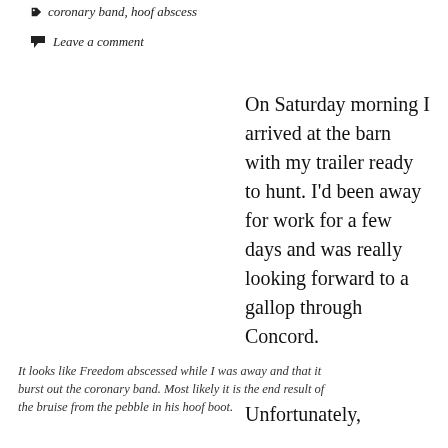coronary band, hoof abscess
Leave a comment
On Saturday morning I arrived at the barn with my trailer ready to hunt. I'd been away for work for a few days and was really looking forward to a gallop through Concord.
It looks like Freedom abscessed while I was away and that it burst out the coronary band. Most likely it is the end result of the bruise from the pebble in his hoof boot.
Unfortunately,